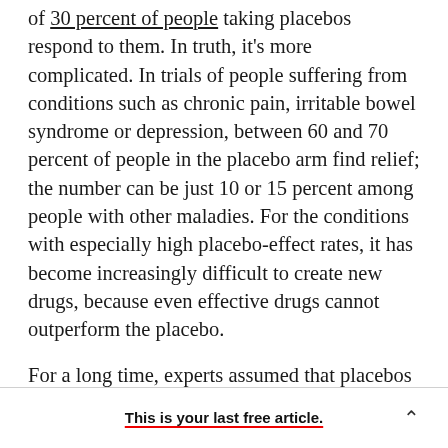of 30 percent of people taking placebos respond to them. In truth, it's more complicated. In trials of people suffering from conditions such as chronic pain, irritable bowel syndrome or depression, between 60 and 70 percent of people in the placebo arm find relief; the number can be just 10 or 15 percent among people with other maladies. For the conditions with especially high placebo-effect rates, it has become increasingly difficult to create new drugs, because even effective drugs cannot outperform the placebo.

For a long time, experts assumed that placebos had
This is your last free article.